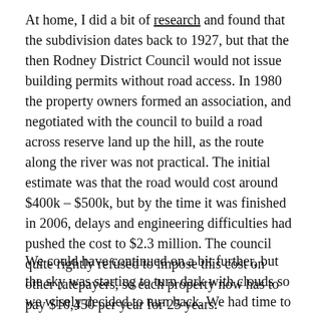At home, I did a bit of research and found that the subdivision dates back to 1927, but that the then Rodney District Council would not issue building permits without road access. In 1980 the property owners formed an association, and negotiated with the council to build a road across reserve land up the hill, as the route along the river was not practical. The initial estimate was that the road would cost around $400k – $500k, but by the time it was finished in 2006, delays and engineering difficulties had pushed the cost to $2.3 million. The council quite rightly refused to impose this cost on other ratepayers, so each property now has to pay $10,450 per year for 25 years.
We could have continued on a bit further, but the sky was starting to turn dark with clouds so we wisely decided to turn back. We had time to stop and admire some beautiful bubbles…